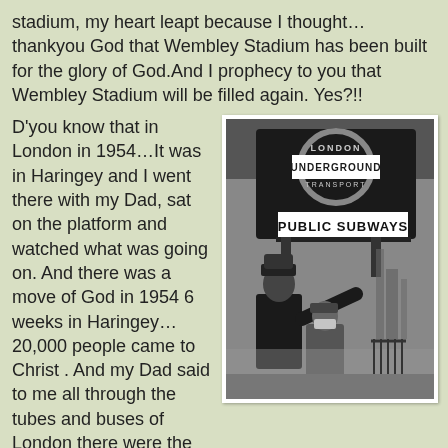stadium, my heart leapt because I thought…thankyou God that Wembley Stadium has been built for the glory of God.And I prophecy to you that Wembley Stadium will be filled again. Yes?!!
D'you know that in London in 1954…It was in Haringey and I went there with my Dad, sat on the platform and watched what was going on. And there was a move of God in 1954 6 weeks in Haringey…20,000 people came to Christ . And my Dad said to me all through the tubes and buses of London there were the praises of
[Figure (photo): Black and white photo showing a London Underground Transport sign with 'PUBLIC SUBWAYS' text below it, and two people (one appears to be a police officer) standing in front of it.]